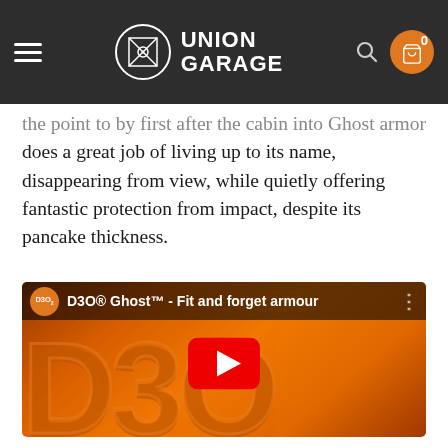Union Garage — navigation header with hamburger menu, logo, search, and cart (0 items)
the point to by first after the cabin interior Ghost armor does a great job of living up to its name, disappearing from view, while quietly offering fantastic protection from impact, despite its pancake thickness.
[Figure (screenshot): YouTube video thumbnail for 'D3O® Ghost™ - Fit and forget armour' showing a close-up of an orange D30 branded protective armor piece with raised D30 lettering. A red YouTube play button is centered on the thumbnail. The top bar shows the D3O logo badge and video title on a dark background.]